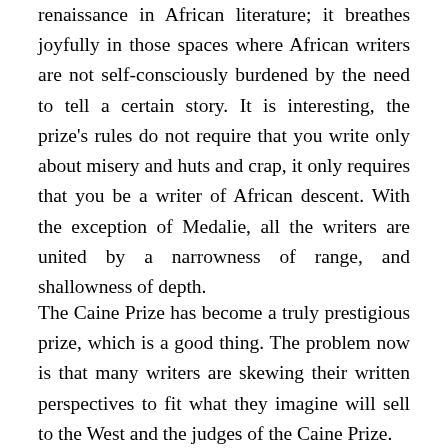renaissance in African literature; it breathes joyfully in those spaces where African writers are not self-consciously burdened by the need to tell a certain story. It is interesting, the prize's rules do not require that you write only about misery and huts and crap, it only requires that you be a writer of African descent. With the exception of Medalie, all the writers are united by a narrowness of range, and shallowness of depth.
The Caine Prize has become a truly prestigious prize, which is a good thing. The problem now is that many writers are skewing their written perspectives to fit what they imagine will sell to the West and the judges of the Caine Prize. The... [continues]